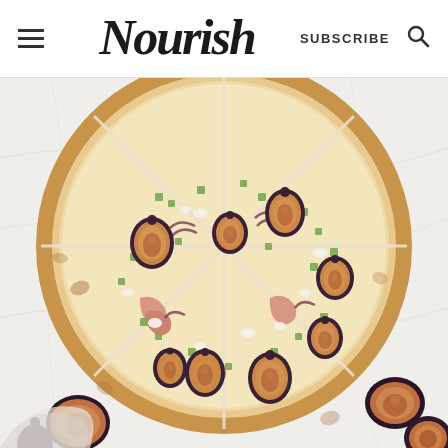Nourish — SUBSCRIBE
[Figure (photo): Overhead view of a round flatbread pizza topped with fresh figs, prosciutto, green onions, and goat cheese, cut into 8 slices and photographed on a white marble surface. Several loose fig halves are visible at the bottom edges of the image.]